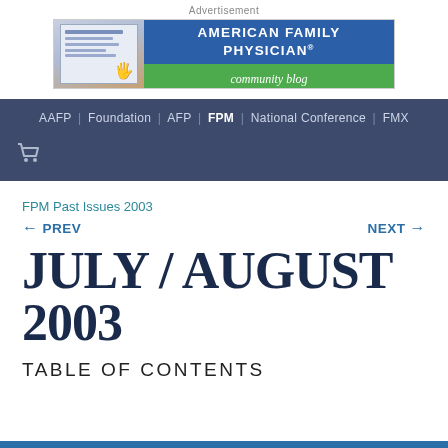Advertisement
[Figure (logo): American Family Physician community blog advertisement banner with blue header and green sub-banner]
AAFP | Foundation | AFP | FPM | National Conference | FMX
FPM Past Issues 2003
← PREV   NEXT →
JULY / AUGUST 2003
TABLE OF CONTENTS